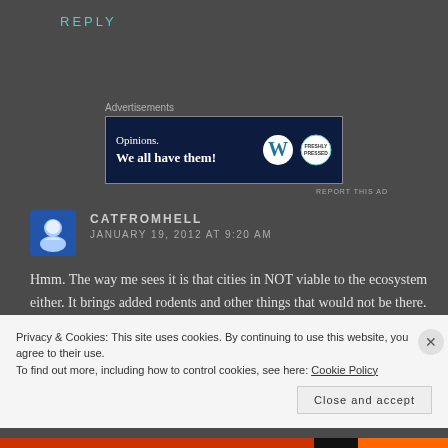REPLY
Advertisements
[Figure (other): WordPress advertisement banner: 'Opinions. We all have them!' with WordPress and FreshlyPressed logos on dark navy background]
REPORT THIS AD
CATFROMHELL
JANUARY 19, 2012 AT 9:20 AM
Hmm. The way me sees it is that cities in NOT viable to the ecosystem either. It brings added rodents and other things that would not be there. Trapping and releasing Feral cats keeps them in check. So me don't Like how ferals gots there, but many places
Privacy & Cookies: This site uses cookies. By continuing to use this website, you agree to their use.
To find out more, including how to control cookies, see here: Cookie Policy
Close and accept